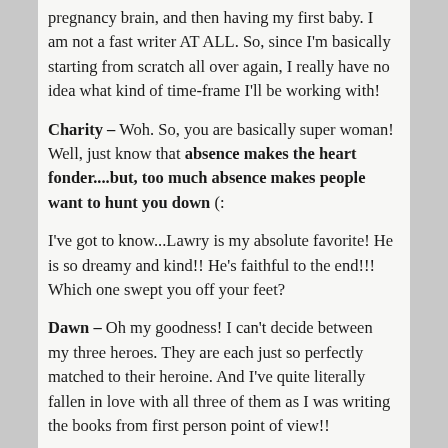pregnancy brain, and then having my first baby. I am not a fast writer AT ALL. So, since I'm basically starting from scratch all over again, I really have no idea what kind of time-frame I'll be working with!
Charity – Woh. So, you are basically super woman! Well, just know that absence makes the heart fonder....but, too much absence makes people want to hunt you down (:
I've got to know...Lawry is my absolute favorite! He is so dreamy and kind!! He's faithful to the end!!! Which one swept you off your feet?
Dawn – Oh my goodness! I can't decide between my three heroes. They are each just so perfectly matched to their heroine. And I've quite literally fallen in love with all three of them as I was writing the books from first person point of view!!